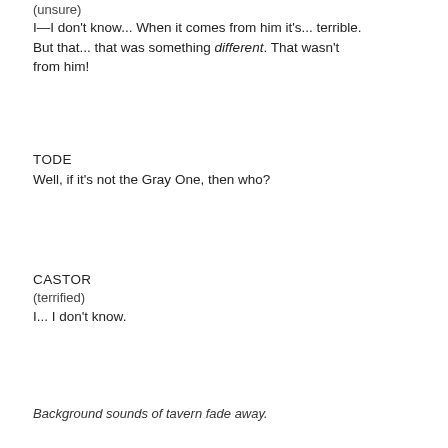(unsure)
I—I don't know... When it comes from him it's... terrible. But that... that was something different. That wasn't from him!
TODE
Well, if it's not the Gray One, then who?
CASTOR
(terrified)
I... I don't know.
Background sounds of tavern fade away.